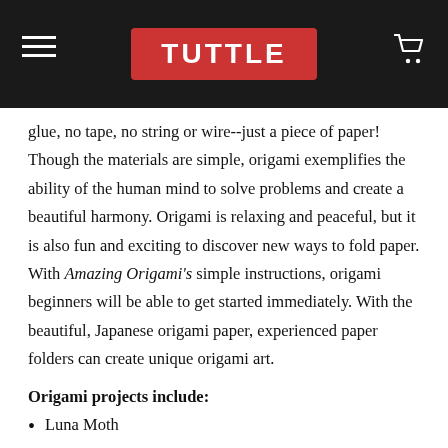TUTTLE
glue, no tape, no string or wire--just a piece of paper! Though the materials are simple, origami exemplifies the ability of the human mind to solve problems and create a beautiful harmony. Origami is relaxing and peaceful, but it is also fun and exciting to discover new ways to fold paper. With Amazing Origami's simple instructions, origami beginners will be able to get started immediately. With the beautiful, Japanese origami paper, experienced paper folders can create unique origami art.
Origami projects include:
Luna Moth
Tortoise